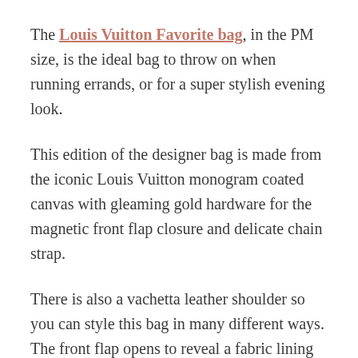The Louis Vuitton Favorite bag, in the PM size, is the ideal bag to throw on when running errands, or for a super stylish evening look.
This edition of the designer bag is made from the iconic Louis Vuitton monogram coated canvas with gleaming gold hardware for the magnetic front flap closure and delicate chain strap.
There is also a vachetta leather shoulder so you can style this bag in many different ways. The front flap opens to reveal a fabric lining in a burgundy shade, fitted with a flat pocket.